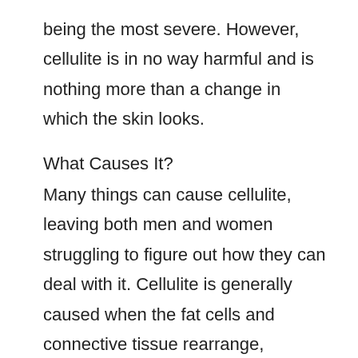being the most severe. However, cellulite is in no way harmful and is nothing more than a change in which the skin looks.
What Causes It?
Many things can cause cellulite, leaving both men and women struggling to figure out how they can deal with it. Cellulite is generally caused when the fat cells and connective tissue rearrange, causing the fat cells to protrude into the skin.
However, several factors are linked to having